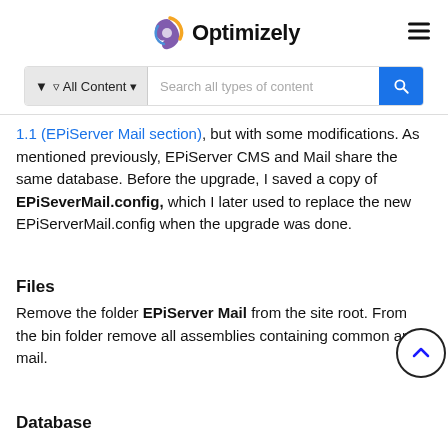Optimizely
[Figure (screenshot): Optimizely logo with colorful swirl icon and 'Optimizely' text, plus hamburger menu icon on the right]
[Figure (screenshot): Search bar with 'All Content' filter dropdown and 'Search all types of content' placeholder, blue search button]
1.1 (EPiServer Mail section), but with some modifications. As mentioned previously, EPiServer CMS and Mail share the same database. Before the upgrade, I saved a copy of EPiSeverMail.config, which I later used to replace the new EPiServerMail.config when the upgrade was done.
Files
Remove the folder EPiServer Mail from the site root. From the bin folder remove all assemblies containing common and mail.
Database